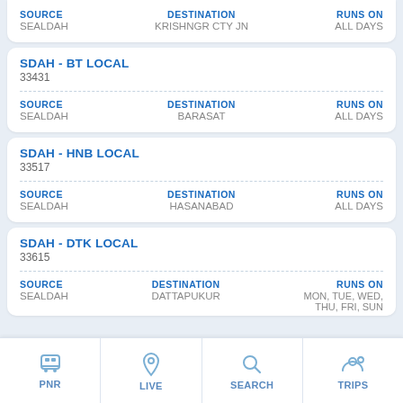| SOURCE | DESTINATION | RUNS ON |
| --- | --- | --- |
| SEALDAH | KRISHNGR CTY JN | ALL DAYS |
SDAH - BT LOCAL
33431
| SOURCE | DESTINATION | RUNS ON |
| --- | --- | --- |
| SEALDAH | BARASAT | ALL DAYS |
SDAH - HNB LOCAL
33517
| SOURCE | DESTINATION | RUNS ON |
| --- | --- | --- |
| SEALDAH | HASANABAD | ALL DAYS |
SDAH - DTK LOCAL
33615
| SOURCE | DESTINATION | RUNS ON |
| --- | --- | --- |
| SEALDAH | DATTAPUKUR | MON, TUE, WED, THU, FRI, SUN |
PNR  LIVE  SEARCH  TRIPS